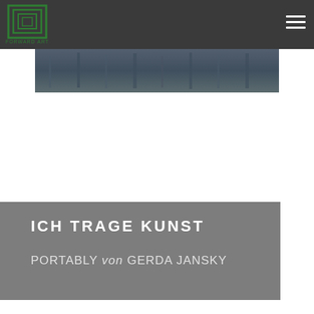[Figure (logo): Green square spiral logo with text 'FORWARD ART' below]
[Figure (photo): Partial view of a blue-toned architectural/street scene photograph]
ICH TRAGE KUNST
PORTABLY von GERDA JANSKY